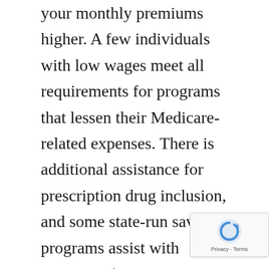your monthly premiums higher. A few individuals with low wages meet all requirements for programs that lessen their Medicare-related expenses. There is additional assistance for prescription drug inclusion, and some state-run savings programs assist with copays, coinsurance, deductibles and premiums.
On the off chance that you tapped your Social Security benefits before you are 65 years old, you will automatically be enrolled in Original Medicare (except if you live in Puerto Rico). In this circumstance, you will see your Social Security check diminished by the cost of the B premium. If you have not yet tapped Social Security, the weight is on you to sign up. All